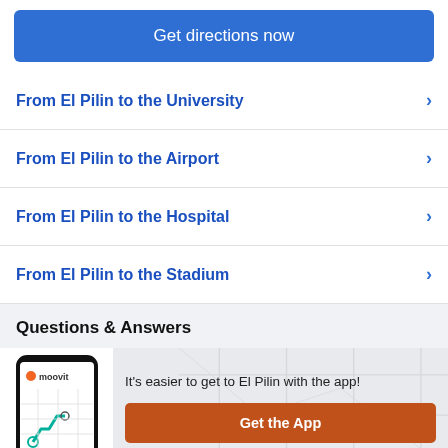Get directions now
From El Pilin to the University
From El Pilin to the Airport
From El Pilin to the Hospital
From El Pilin to the Stadium
Questions & Answers
[Figure (illustration): Moovit app phone mockup showing a transit route on a map with the Moovit logo]
It's easier to get to El Pilin with the app!
Get the App